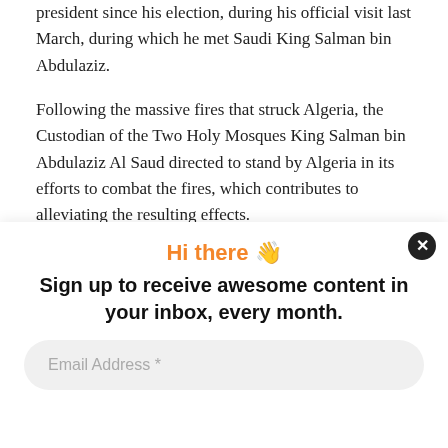president since his election, during his official visit last March, during which he met Saudi King Salman bin Abdulaziz.
Following the massive fires that struck Algeria, the Custodian of the Two Holy Mosques King Salman bin Abdulaziz Al Saud directed to stand by Algeria in its efforts to combat the fires, which contributes to alleviating the resulting effects.
The Saudi monarch also gave directives that the King Salman Center for Relief and Humanitarian Action send
Hi there 👋
Sign up to receive awesome content in your inbox, every month.
Email Address *